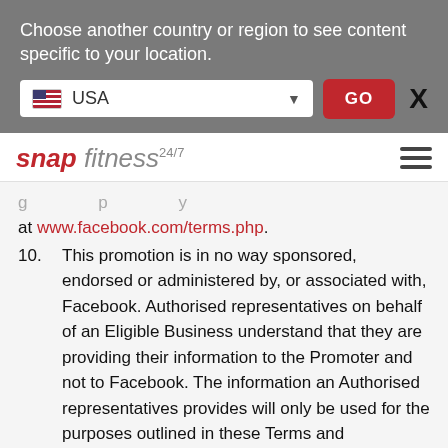Choose another country or region to see content specific to your location.
[Figure (screenshot): Country selector UI with USA flag dropdown, red GO button, and X close button]
[Figure (logo): Snap Fitness 24/7 logo with hamburger menu icon]
...g...p...y at www.facebook.com/terms.php.
10. This promotion is in no way sponsored, endorsed or administered by, or associated with, Facebook. Authorised representatives on behalf of an Eligible Business understand that they are providing their information to the Promoter and not to Facebook. The information an Authorised representatives provides will only be used for the purposes outlined in these Terms and Conditions. Any questions, comments or complaints about this promotion must be